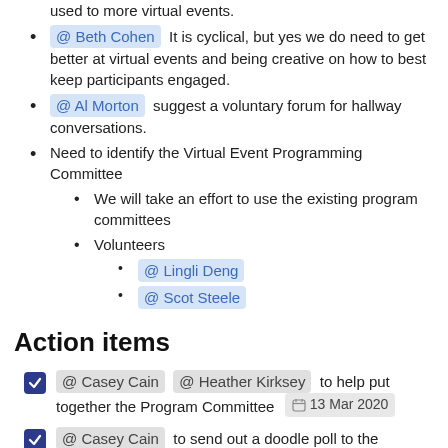@Scot Steele we believe that we need to get used to more virtual events.
@Beth Cohen It is cyclical, but yes we do need to get better at virtual events and being creative on how to best keep participants engaged.
@Al Morton suggest a voluntary forum for hallway conversations.
Need to identify the Virtual Event Programming Committee
We will take an effort to use the existing program committees
Volunteers
@ Lingli Deng
@ Scot Steele
Action items
@ Casey Cain @ Heather Kirksey to help put together the Program Committee 13 Mar 2020
@ Casey Cain to send out a doodle poll to the Program Committee to identify the best meeting time 20 Mar 2020